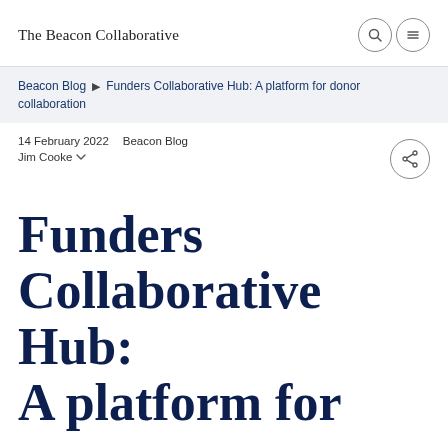The Beacon Collaborative
Beacon Blog ▶ Funders Collaborative Hub: A platform for donor collaboration
14 February 2022   Beacon Blog
Jim Cooke
Funders Collaborative Hub: A platform for